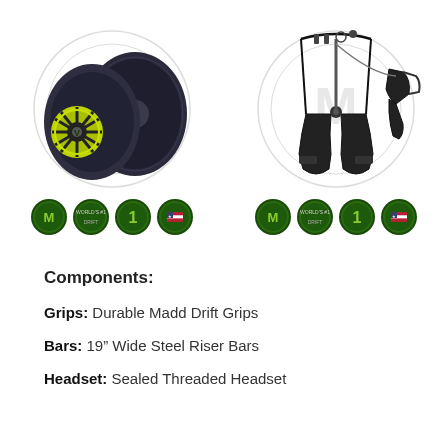[Figure (photo): Two dark roller skate wheels with a yellow/green hub bearing shown in the center, with a brand logo circle in background. Four green circular badge icons below.]
[Figure (photo): Bicycle-style brake assembly with cable, caliper, and lever shown in black, with brand circle logo in background. Four green circular badge icons below.]
Components:
Grips: Durable Madd Drift Grips
Bars: 19" Wide Steel Riser Bars
Headset: Sealed Threaded Headset